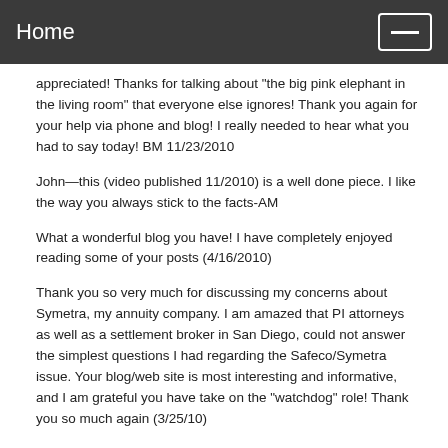Home
appreciated! Thanks for talking about "the big pink elephant in the living room" that everyone else ignores! Thank you again for your help via phone and blog! I really needed to hear what you had to say today! BM 11/23/2010
John—this (video published 11/2010) is a well done piece. I like the way you always stick to the facts-AM
What a wonderful blog you have! I have completely enjoyed reading some of your posts (4/16/2010)
Thank you so very much for discussing my concerns about Symetra, my annuity company. I am amazed that PI attorneys as well as a settlement broker in San Diego, could not answer the simplest questions I had regarding the Safeco/Symetra issue. Your blog/web site is most interesting and informative, and I am grateful you have take on the "watchdog" role! Thank you so much again (3/25/10)
"Keep up the good work exposing abuses in our